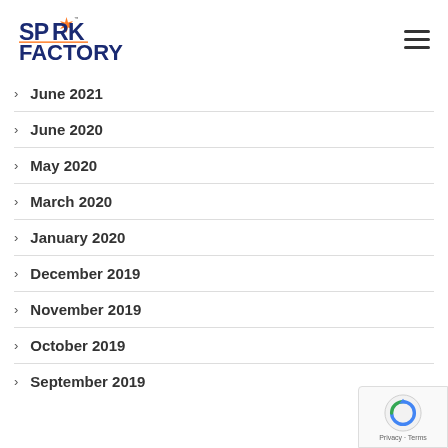Spark Factory logo and navigation menu
June 2021
June 2020
May 2020
March 2020
January 2020
December 2019
November 2019
October 2019
September 2019